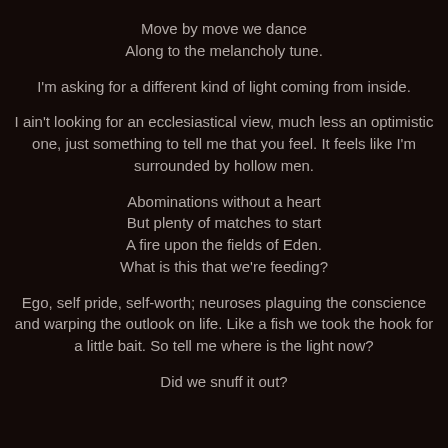Move by move we dance
Along to the melancholy tune.
I'm asking for a different kind of light coming from inside.
I ain't looking for an ecclesiastical view, much less an optimistic one, just something to tell me that you feel. It feels like I'm surrounded by hollow men.
Abominations without a heart
But plenty of matches to start
A fire upon the fields of Eden.
What is this that we're feeding?
Ego, self pride, self-worth; neuroses plaguing the conscience and warping the outlook on life. Like a fish we took the hook for a little bait. So tell me where is the light now?
Did we snuff it out?